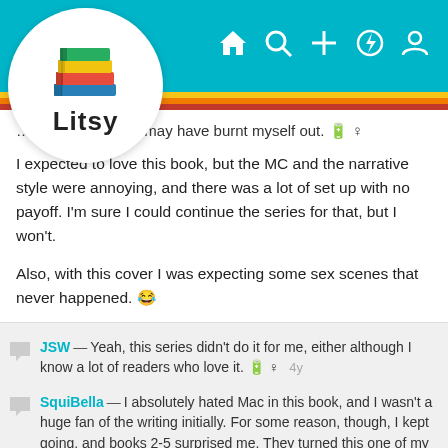[Figure (screenshot): Litsy app logo — colorful stacked books icon with 'Litsy' text in bold, inside a white circle]
Litsy app navigation bar with home, search, add, notification, and profile icons on teal background with yellow, orange, and red stripes
…ometimes think I may have burnt myself out. 🔋 ♀
I expected to love this book, but the MC and the narrative style were annoying, and there was a lot of set up with no payoff. I'm sure I could continue the series for that, but I won't.

Also, with this cover I was expecting some sex scenes that never happened. 😂
JSW — Yeah, this series didn't do it for me, either although I know a lot of readers who love it. 🔋 ♀   4y
SquiBella — I absolutely hated Mac in this book, and I wasn't a huge fan of the writing initially. For some reason, though, I kept going, and books 2-5 surprised me. They turned this one of my favorite series. I'm so mad at book 1 for almost making me walk away. It's the weakest of all of them.   4y
sprainedbrein — @SquiBella welll… maybe I should keep